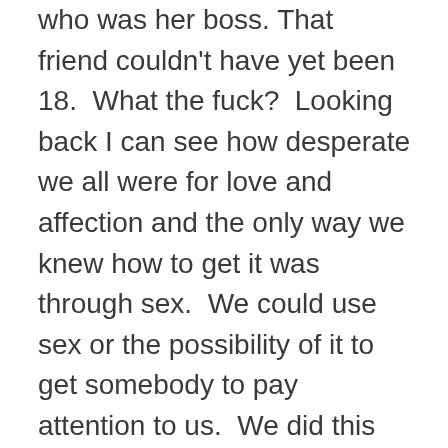who was her boss. That friend couldn't have yet been 18.  What the fuck?  Looking back I can see how desperate we all were for love and affection and the only way we knew how to get it was through sex.  We could use sex or the possibility of it to get somebody to pay attention to us.  We did this because somehow we had gotten the message that it would make us more valuable.  We weren't enough on our own.  Our lives only meant something if we were attractive enough to get a guy.Until puberty we had all been achievement junkies and derived our value by making straight A's and being the